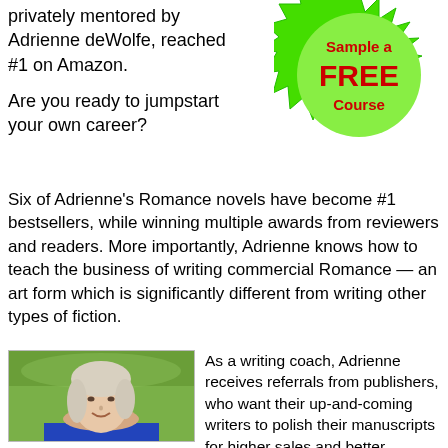privately mentored by Adrienne deWolfe, reached #1 on Amazon.
Are you ready to jumpstart your own career?
[Figure (illustration): Green starburst badge with red bold text reading 'Sample a FREE Course']
Six of Adrienne's Romance novels have become #1 bestsellers, while winning multiple awards from reviewers and readers. More importantly, Adrienne knows how to teach the business of writing commercial Romance — an art form which is significantly different from writing other types of fiction.
[Figure (photo): Portrait photo of a woman with gray-blonde hair, smiling, wearing a blue top, with a green natural background]
As a writing coach, Adrienne receives referrals from publishers, who want their up-and-coming writers to polish their manuscripts for higher sales and better